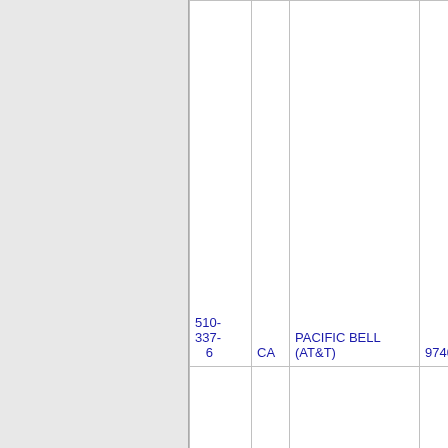| Phone | State | Carrier | Number | Extra |
| --- | --- | --- | --- | --- |
| 510-337-6 | CA | PACIFIC BELL (AT&T) | 9740 |  |
| 510- | CA | PACIFIC BELL |  |  |